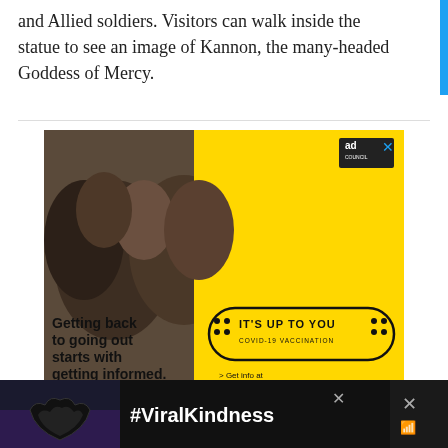and Allied soldiers. Visitors can walk inside the statue to see an image of Kannon, the many-headed Goddess of Mercy.
[Figure (photo): Advertisement: COVID-19 vaccination ad by Ad Council. Shows group of friends laughing outdoors at what appears to be a concert or festival. Yellow background on right half with text 'Getting back to going out starts with getting informed.' and a badge reading 'IT'S UP TO YOU - COVID-19 VACCINATION'. Text says '> Get info at GetVaccineAnswers.org'. Ad Council logo in top right corner. X close button in top right.]
[Figure (photo): Bottom advertisement banner: Dark background with hands forming a heart shape and text '#ViralKindness'. Has an X close button on the right side.]